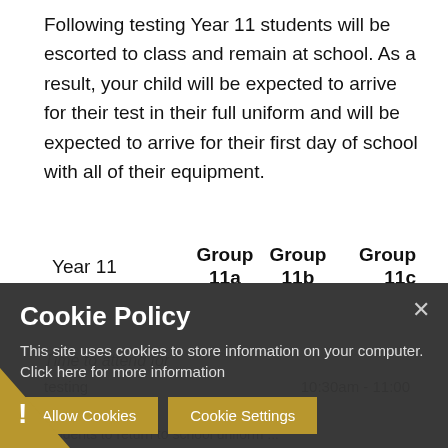Following testing Year 11 students will be escorted to class and remain at school. As a result, your child will be expected to arrive for their test in their full uniform and will be expected to arrive for their first day of school with all of their equipment.
| Year 11 | Group 11a | Group 11b | Group 11c |
| --- | --- | --- | --- |
| Time to attend for testing |  | 10:30am - 11:00 |  |
[Figure (screenshot): Cookie Policy banner overlay with dark background. Title: 'Cookie Policy'. Body: 'This site uses cookies to store information on your computer. Click here for more information'. Buttons: 'Allow Cookies' and 'Cookie Settings'. Close button (x) top right. Gold triangle/exclamation mark bottom left.]